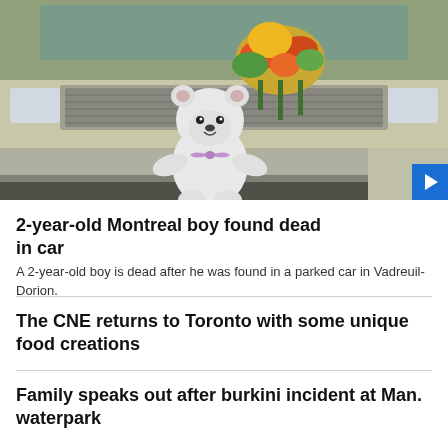[Figure (photo): A white teddy bear with a purple bow and flowers placed against the front bumper/grille of a beige/gold car, serving as a memorial tribute. Sunny outdoor scene.]
2-year-old Montreal boy found dead in car
A 2-year-old boy is dead after he was found in a parked car in Vadreuil-Dorion.
The CNE returns to Toronto with some unique food creations
Family speaks out after burkini incident at Man. waterpark